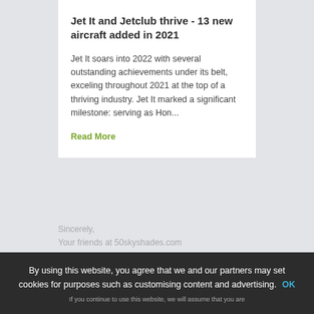Jet It and Jetclub thrive - 13 new aircraft added in 2021
Jet It soars into 2022 with several outstanding achievements under its belt, exceling throughout 2021 at the top of a thriving industry. Jet It marked a significant milestone: serving as Hon...
Read More
Sincerely,
Your friends at 50skyshades.com
By using this website, you agree that we and our partners may set cookies for purposes such as customising content and advertising. OK